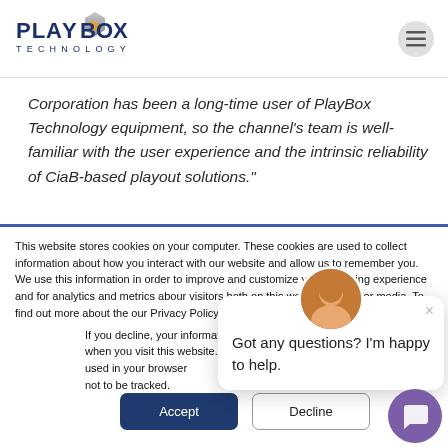PlayBox Technology
Corporation has been a long-time user of PlayBox Technology equipment, so the channel’s team is well-familiar with the user experience and the intrinsic reliability of CiaB-based playout solutions.”
This website stores cookies on your computer. These cookies are used to collect information about how you interact with our website and allow us to remember you. We use this information in order to improve and customize your browsing experience and for analytics and metrics about our visitors both on this website and other media. To find out more about the cookies we use, see our Privacy Policy.
If you decline, your information won’t be tracked when you visit this website. A single cookie will be used in your browser to remember your preference not to be tracked.
[Figure (screenshot): Chat popup with avatar and message: Got any questions? I’m happy to help.]